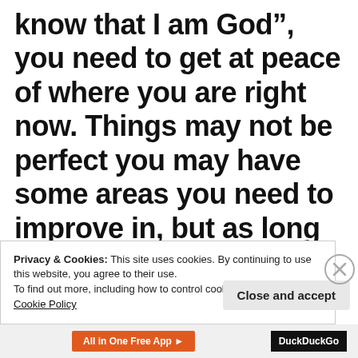know that I am God”, you need to get at peace of where you are right now. Things may not be perfect you may have some areas you need to improve in, but as long as we’re living upset, worried stressed out we’re just tying the hands of almighty God
Privacy & Cookies: This site uses cookies. By continuing to use this website, you agree to their use.
To find out more, including how to control cookies, see here:
Cookie Policy
Close and accept
All in One Free App
DuckDuckGo